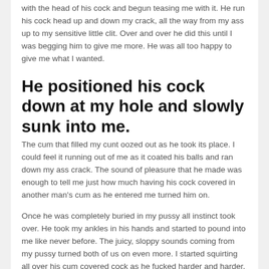with the head of his cock and begun teasing me with it. He run his cock head up and down my crack, all the way from my ass up to my sensitive little clit. Over and over he did this until I was begging him to give me more. He was all too happy to give me what I wanted.
He positioned his cock down at my hole and slowly sunk into me.
The cum that filled my cunt oozed out as he took its place. I could feel it running out of me as it coated his balls and ran down my ass crack. The sound of pleasure that he made was enough to tell me just how much having his cock covered in another man's cum as he entered me turned him on.
Once he was completely buried in my pussy all instinct took over. He took my ankles in his hands and started to pound into me like never before. The juicy, sloppy sounds coming from my pussy turned both of us on even more. I started squirting all over his cum covered cock as he fucked harder and harder, deeper than ever before. The walls of my pussy tightened around him as my squirt overflowed as a fountain sent him over the edge.
I told him how much I wanted his